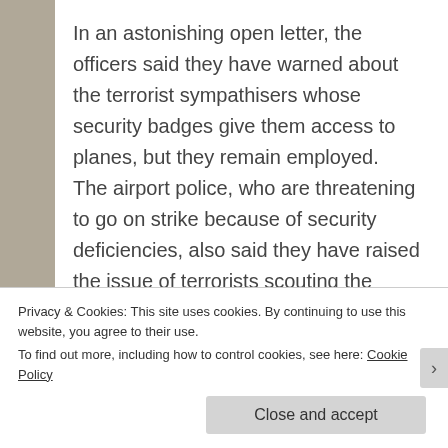In an astonishing open letter, the officers said they have warned about the terrorist sympathisers whose security badges give them access to planes, but they remain employed. The airport police, who are threatening to go on strike because of security deficiencies, also said they have raised the issue of terrorists scouting the airport to plan possible attacks. The extraordinary claims come after it wasl reported how the family of two of the
Privacy & Cookies: This site uses cookies. By continuing to use this website, you agree to their use. To find out more, including how to control cookies, see here: Cookie Policy